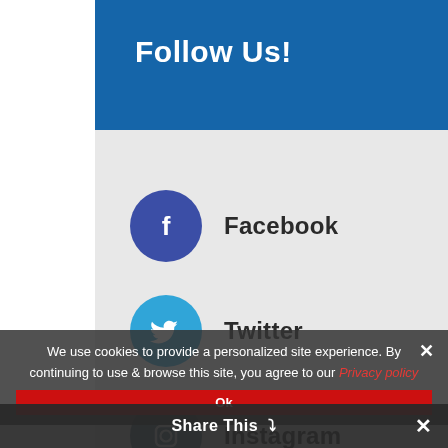Follow Us!
Facebook
Twitter
Instagram
YouTube
Newsletter Signup
We use cookies to provide a personalized site experience. By continuing to use & browse this site, you agree to our Privacy policy
Share This